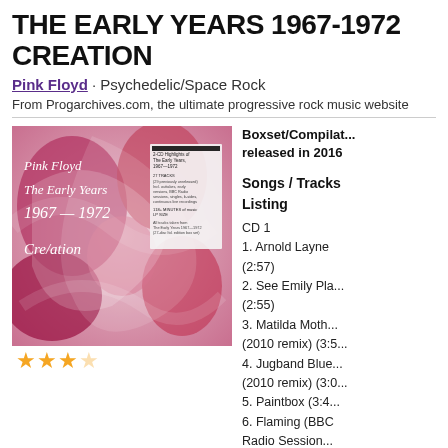THE EARLY YEARS 1967-1972 CREATION
Pink Floyd · Psychedelic/Space Rock
From Progarchives.com, the ultimate progressive rock music website
[Figure (photo): Album cover of Pink Floyd The Early Years 1967-1972 Cre/ation, showing pink and white marbled swirl artwork with the album title text overlay and a CD insert visible]
Boxset/Compilation released in 2016
Songs / Tracks Listing
CD 1
1. Arnold Layne (2:57)
2. See Emily Play (2:55)
3. Matilda Mother (2010 remix) (3:5...)
4. Jugband Blues (2010 remix) (3:0...)
5. Paintbox (3:4...)
6. Flaming (BBC Radio Session...)